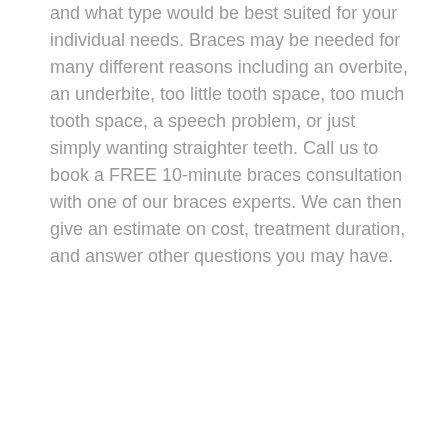and what type would be best suited for your individual needs. Braces may be needed for many different reasons including an overbite, an underbite, too little tooth space, too much tooth space, a speech problem, or just simply wanting straighter teeth. Call us to book a FREE 10-minute braces consultation with one of our braces experts. We can then give an estimate on cost, treatment duration, and answer other questions you may have.